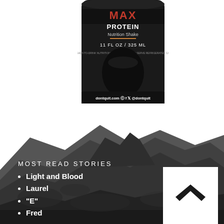[Figure (photo): MAX Protein Nutrition Shake product can — 11 FL OZ / 325 ML — black can with dontquit.com and social media handles @dontquit]
[Figure (illustration): Dark mountain silhouette illustration forming the page background in the lower half]
MOST READ STORIES
Light and Blood
Laurel
"E"
Fred
[Figure (logo): White chevron/house icon on white square background]